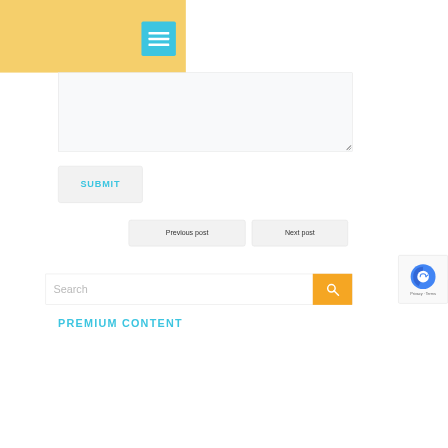[Figure (screenshot): Yellow header bar with cyan hamburger menu button (3 white horizontal bars)]
[Figure (screenshot): Empty textarea/text input box with resize handle]
SUBMIT
Previous post
Next post
Search
[Figure (screenshot): Search bar with orange magnifying glass button]
[Figure (screenshot): Google reCAPTCHA badge with Privacy and Terms links]
PREMIUM CONTENT